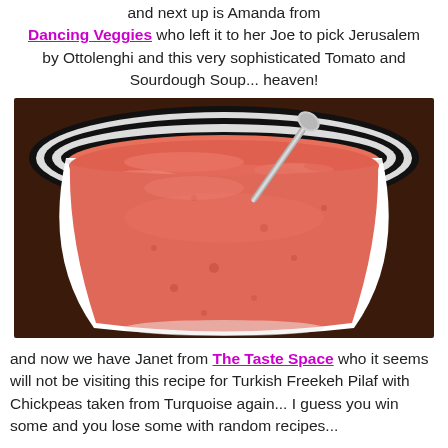and next up is Amanda from Dancing Veggies who left it to her Joe to pick Jerusalem by Ottolenghi and this very sophisticated Tomato and Sourdough Soup... heaven!
[Figure (photo): Close-up photo of tomato soup (pink/salmon colored) in a white bowl with black stripes on the rim, with a spoon visible in the upper right.]
and now we have Janet from The Taste Space who it seems will not be visiting this recipe for Turkish Freekeh Pilaf with Chickpeas taken from Turquoise again... I guess you win some and you lose some with random recipes...